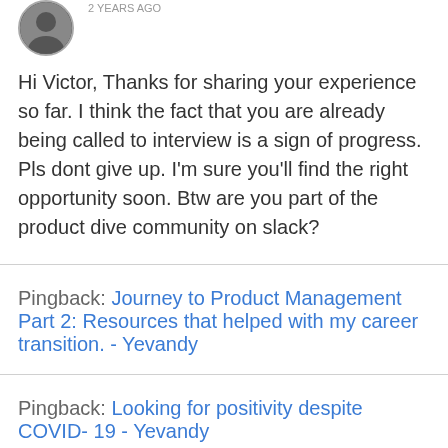[Figure (photo): A circular avatar photo of a person in black and white]
2 YEARS AGO
Hi Victor, Thanks for sharing your experience so far. I think the fact that you are already being called to interview is a sign of progress. Pls dont give up. I'm sure you'll find the right opportunity soon. Btw are you part of the product dive community on slack?
Pingback: Journey to Product Management Part 2: Resources that helped with my career transition. - Yevandy
Pingback: Looking for positivity despite COVID- 19 - Yevandy